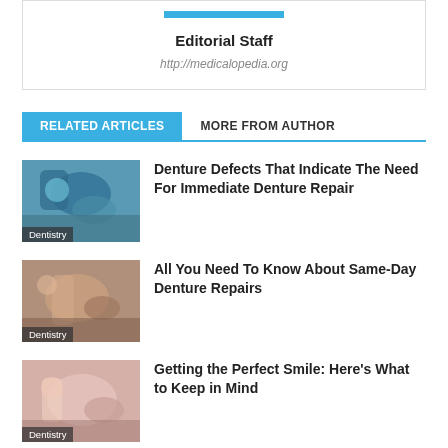Editorial Staff
http://medicalopedia.org
RELATED ARTICLES   MORE FROM AUTHOR
[Figure (photo): Dentist in blue gloves working on a patient's open mouth, dental procedure, label: Dentistry]
Denture Defects That Indicate The Need For Immediate Denture Repair
[Figure (photo): Dentist using instrument on a patient's teeth, label: Dentistry]
All You Need To Know About Same-Day Denture Repairs
[Figure (photo): Close-up of dental procedure on a woman patient, label: Dentistry]
Getting the Perfect Smile: Here's What to Keep in Mind